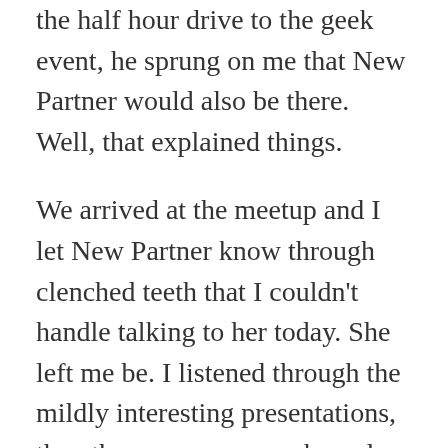the half hour drive to the geek event, he sprung on me that New Partner would also be there. Well, that explained things.
We arrived at the meetup and I let New Partner know through clenched teeth that I couldn't handle talking to her today. She left me be. I listened through the mildly interesting presentations, then there was some awkward socializing that involved my trying not to talk to old nerdy men, then we departed.
The arrangement was that my soon-to-be ex would drive me to my next engagement for the day – volunteering at the SPCA. It was a 40+